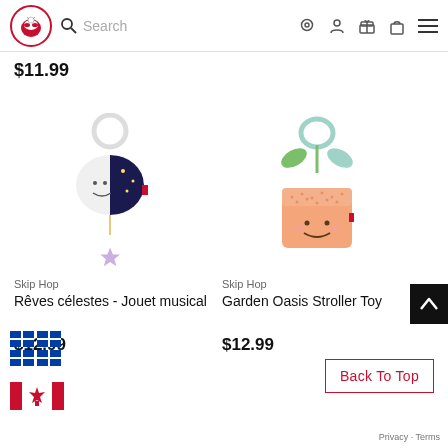Search | navigation icons
$11.99
[Figure (photo): Skip Hop Rêves célestes musical baby toy - white moon plush with dark blue night sky detail, a purple star, and a hanging ring clip]
Skip Hop
Rêves célestes - Jouet musical
$12.99
[Figure (photo): Skip Hop Garden Oasis Stroller Toy - orange planter pot plush with green leaf clip on top]
Skip Hop
Garden Oasis Stroller Toy
$12.99
[Figure (illustration): Quebec provincial flags (blue with white cross) and Canadian maple leaf flag]
Back To Top
Privacy · Terms